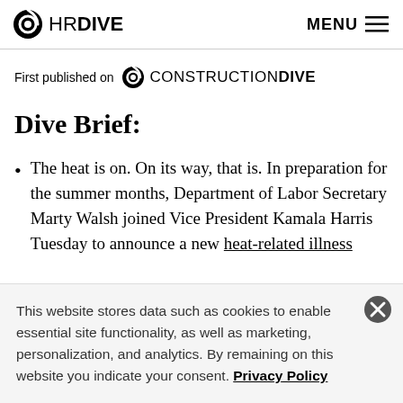HR DIVE   MENU
First published on CONSTRUCTION DIVE
Dive Brief:
The heat is on. On its way, that is. In preparation for the summer months, Department of Labor Secretary Marty Walsh joined Vice President Kamala Harris Tuesday to announce a new heat-related illness
This website stores data such as cookies to enable essential site functionality, as well as marketing, personalization, and analytics. By remaining on this website you indicate your consent. Privacy Policy